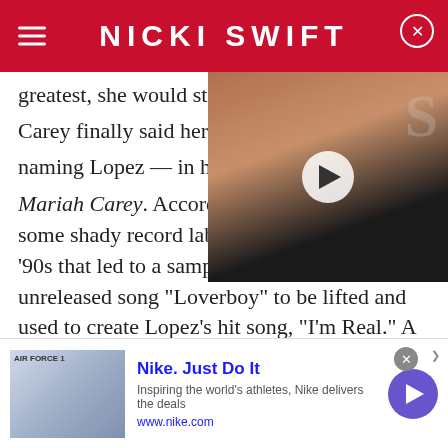NICKI SWIFT
greatest, she would still to h...
Carey finally said her piece on naming Lopez — in her 2020 m Mariah Carey. According to To some shady record label business back to the '90s that led to a sample from her then-unreleased song "Loverboy" to be lifted and used to create Lopez's hit song, "I'm Real." A tumultuous personal and professional period for Carey followed, however, she noted that "Loverboy" still managed to top sales of singles in 2001.
[Figure (screenshot): Video thumbnail showing a man in a dark shirt against a basketball/sports backdrop, with a circular play button overlay and an 'S' watermark in upper right corner]
[Figure (screenshot): Nike advertisement banner with shoe image, Nike Just Do It headline, tagline 'Inspiring the world's athletes, Nike delivers the deals', URL www.nike.com, and a purple arrow button]